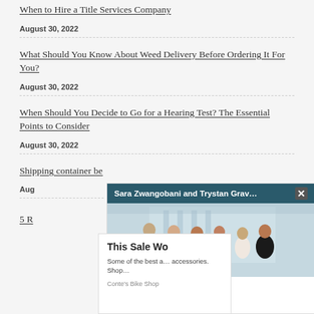When to Hire a Title Services Company
August 30, 2022
What Should You Know About Weed Delivery Before Ordering It For You?
August 30, 2022
When Should You Decide to Go for a Hearing Test? The Essential Points to Consider
August 30, 2022
Shipping container be…
Aug…
5 R…
[Figure (screenshot): Video ad overlay showing Sara Zwangobani and Trystan Grav… with a group photo of people at an event, blue-teal header bar with close button, and mute button]
[Figure (screenshot): Bike shop advertisement overlay: 'This Sale Wo…' with text 'Some of the best a… accessories. Shop…' and brand 'Conte's Bike Shop']